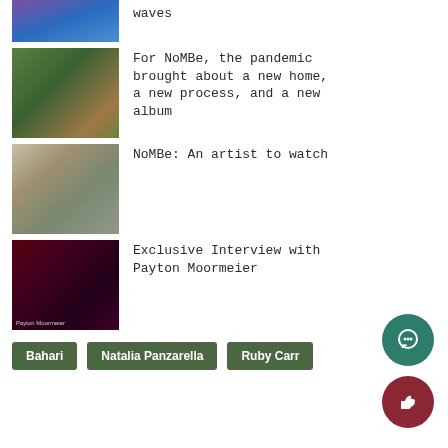waves
[Figure (photo): Partial top photo, purple/blue tones, person]
For NoMBe, the pandemic brought about a new home, a new process, and a new album
[Figure (photo): NoMBe artist photo, floral shirt, arms crossed, outdoors]
NoMBe: An artist to watch
[Figure (photo): NoMBe at piano, profile view, light blue shirt]
Exclusive Interview with Payton Moormeier
[Figure (photo): Payton Moormeier in studio with headphones and microphone, dark red background]
Bahari
Natalia Panzarella
Ruby Carr